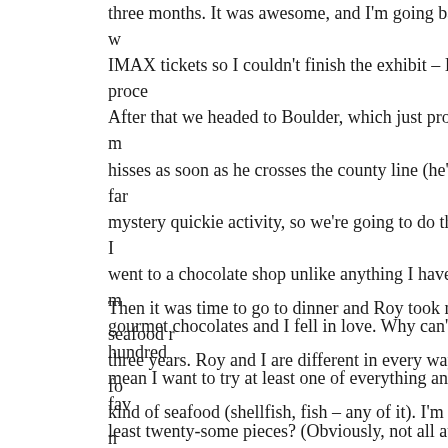three months. It was awesome, and I'm going back in the next IMAX tickets so I couldn't finish the exhibit – I read and proces After that we headed to Boulder, which just proves how much m hisses as soon as he crosses the county line (he's really not a far mystery quickie activity, so we're going to do that sometime – I went to a chocolate shop unlike anything I have ever visited. I m gourmet chocolates and I fell in love. Why can't I have hundred mean I want to try at least one of everything and then get my fa least twenty-some pieces? (Obviously, not all at one time – my s average chocolate was $4 a piece so I'm not exaggerating in ter dollars.")
Then it was time to go to dinner and Roy took me to a seafood r three years. Roy and I are different in every way, down to the fo kind of seafood (shellfish, fish – any of it). I'm not sure what I f food, but whatever my expectations were – this place just blew remember the last time I was so wowed by anything – it's had to appetizer I got was raw fish, fish eggs and jalapeños, which I kr wasn't. It was sweet (the fish eggs and fish) but with serious bit